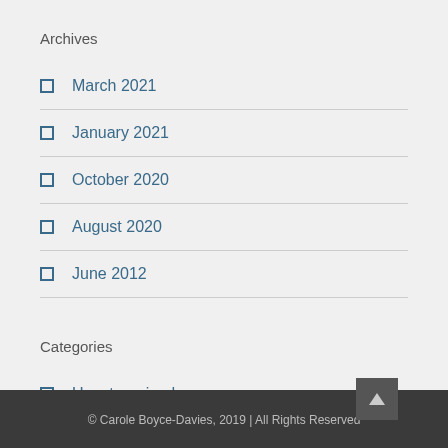Archives
March 2021
January 2021
October 2020
August 2020
June 2012
Categories
Uncategorized
© Carole Boyce-Davies, 2019 | All Rights Reserved